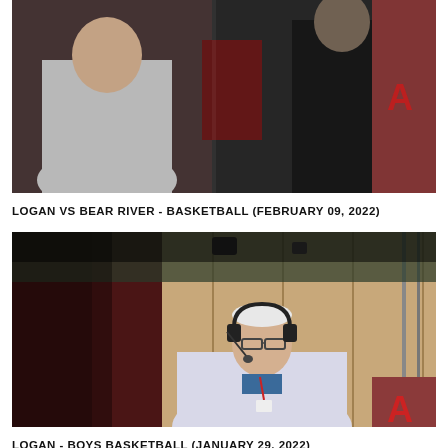[Figure (photo): Two people on a basketball court/gym setting; one in a light jacket and one in a dark jacket near a banner with letter A visible]
LOGAN VS BEAR RIVER - BASKETBALL (FEBRUARY 09, 2022)
[Figure (photo): Older man wearing headphones and microphone, appearing to be an announcer, in a gym setting with maroon curtains and wood-paneled wall, letter A banner visible]
LOGAN - BOYS BASKETBALL (JANUARY 29, 2022)